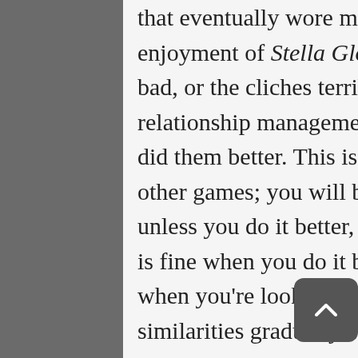that eventually wore me down and started to diminish my enjoyment of Stella Glow. It wasn't that the mechanics were bad, or the cliches terrible, but after hours of grinding and relationship management I began to think of other games that did them better. This is the inherent risk of being similar to other games; you will be compared to those other games, and unless you do it better, you will be found wanting. Similarity is fine when you do it better or your game isn't too long, but when you're looking at 40-60 hours of gameplay, those similarities gradually caused my interest to decline.
When you're not in battle or going through story sections during Combat Time, you will find yourself going through the Free Time mechanic in Stella Glow. During your allotted Free Time, you can upgrade or buy new items, explore areas, grind out some experience, or further your relationships with the other characters. On occasion you will reach a point in a character's relationship where the only way to progress your relationship is to tune your Witches' hearts. While it sounds weird, furthering